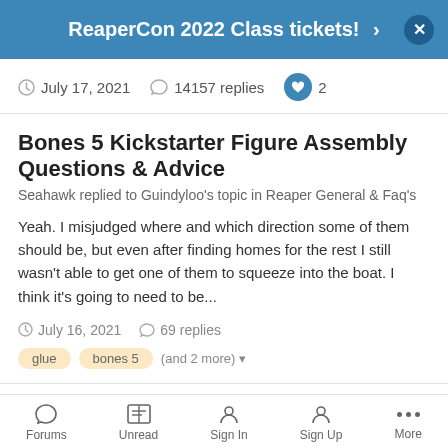ReaperCon 2022 Class tickets! ›
July 17, 2021   14157 replies   2
Bones 5 Kickstarter Figure Assembly Questions & Advice
Seahawk replied to Guindyloo's topic in Reaper General & Faq's
Yeah. I misjudged where and which direction some of them should be, but even after finding homes for the rest I still wasn't able to get one of them to squeeze into the boat. I think it's going to need to be...
July 16, 2021   69 replies
glue   bones 5   (and 2 more)
Reaper Bones 5: Information Thread
Seahawk replied to Jakotrom's topic in Kickstarter
Forums   Unread   Sign In   Sign Up   More